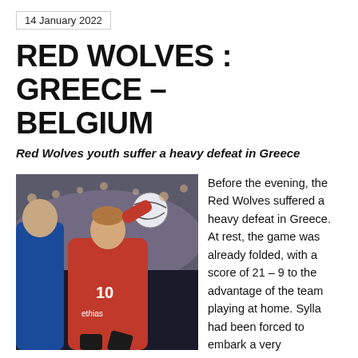14 January 2022
RED WOLVES : GREECE – BELGIUM
Red Wolves youth suffer a heavy defeat in Greece
[Figure (photo): A handball player wearing a red jersey with number 10 and 'ethias' sponsor, jumping to shoot the ball, with a defender in blue on the left and a crowd in the background.]
Before the evening, the Red Wolves suffered a heavy defeat in Greece. At rest, the game was already folded, with a score of 21 – 9 to the advantage of the team playing at home. Sylla had been forced to embark a very